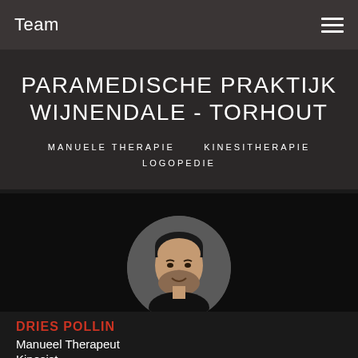Team
PARAMEDISCHE PRAKTIJK WIJNENDALE - TORHOUT
MANUELE THERAPIE   KINESITHERAPIE   LOGOPEDIE
[Figure (photo): Circular portrait photo of Dries Pollin, a man with dark hair and a beard, smiling, on a grey background]
DRIES POLLIN
Manueel Therapeut
Kinesist